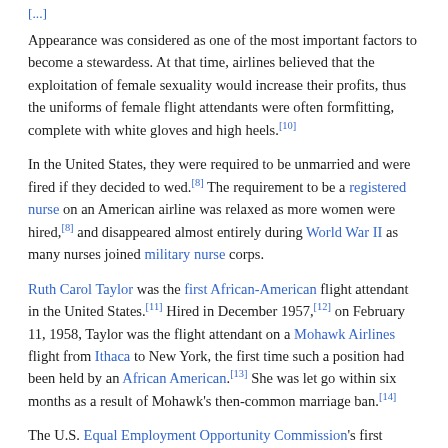[...]
Appearance was considered as one of the most important factors to become a stewardess. At that time, airlines believed that the exploitation of female sexuality would increase their profits, thus the uniforms of female flight attendants were often formfitting, complete with white gloves and high heels.[10]
In the United States, they were required to be unmarried and were fired if they decided to wed.[8] The requirement to be a registered nurse on an American airline was relaxed as more women were hired,[8] and disappeared almost entirely during World War II as many nurses joined military nurse corps.
Ruth Carol Taylor was the first African-American flight attendant in the United States.[11] Hired in December 1957,[12] on February 11, 1958, Taylor was the flight attendant on a Mohawk Airlines flight from Ithaca to New York, the first time such a position had been held by an African American.[13] She was let go within six months as a result of Mohawk's then-common marriage ban.[14]
The U.S. Equal Employment Opportunity Commission's first complainants were female flight attendants complaining of age discrimination, rights to employment, and base compensation.[15]